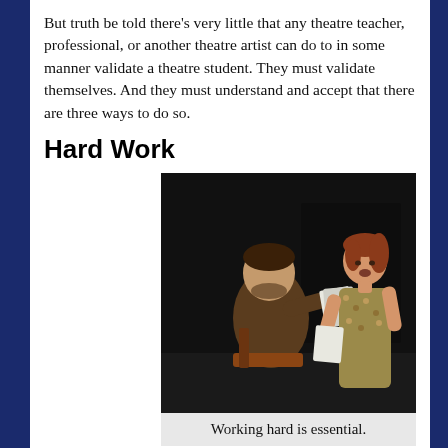But truth be told there's very little that any theatre teacher, professional, or another theatre artist can do to in some manner validate a theatre student. They must validate themselves. And they must understand and accept that there are three ways to do so.
Hard Work
Perhaps the worst thing any student can have is talent. Too often they believe that a lot of talent and a little work go a long way. The opposite is true. The formula for success is a lot of hard work and some talent makes a professional
[Figure (photo): Two theatre students rehearsing on stage, one seated and one standing holding papers, in a dark stage setting.]
Working hard is essential.